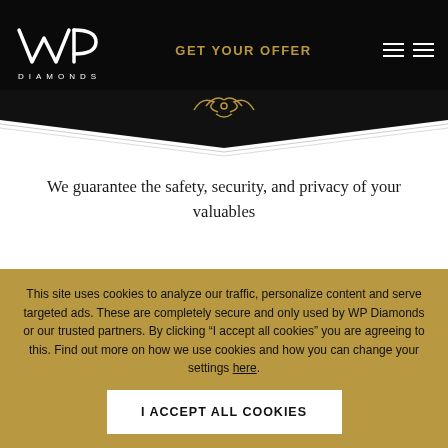WP DIAMONDS | GET YOUR OFFER
[Figure (logo): WP Diamonds logo with decorative crown/wing symbol in gold]
We guarantee the safety, security, and privacy of your valuables
WE'RE PROUDLY ACCREDITED BY
This site uses cookies to analyze our traffic, personalize content and serve targeted ads. These are completely secure and only used by WP Diamonds or our trusted partners. By clicking “I accept all cookies” you are agreeing to this. Find out more on how we use cookies and how you can change your settings here.
I ACCEPT ALL COOKIES